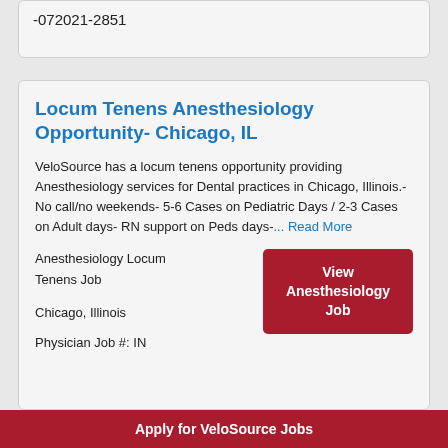-072021-2851
Locum Tenens Anesthesiology Opportunity- Chicago, IL
VeloSource has a locum tenens opportunity providing Anesthesiology services for Dental practices in Chicago, Illinois.- No call/no weekends- 5-6 Cases on Pediatric Days / 2-3 Cases on Adult days- RN support on Peds days-... Read More
Anesthesiology Locum Tenens Job
Chicago, Illinois
Physician Job #: IN
View Anesthesiology Job
Apply for VeloSource Jobs